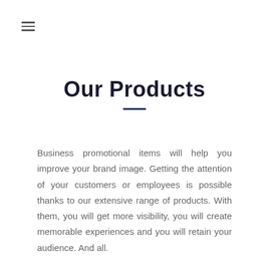≡
Our Products
Business promotional items will help you improve your brand image. Getting the attention of your customers or employees is possible thanks to our extensive range of products. With them, you will get more visibility, you will create memorable experiences and you will retain your audience. And all.